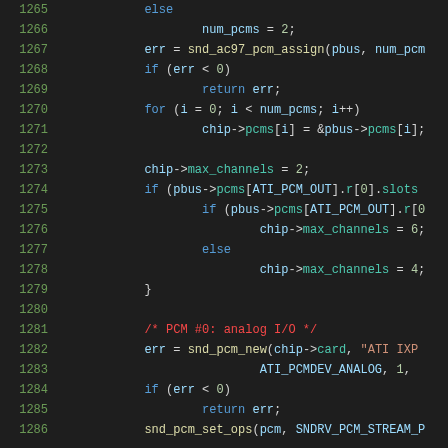[Figure (screenshot): Source code listing in a dark-themed IDE/viewer showing C code lines 1265-1286 with syntax highlighting. Line numbers in green on the left, keywords in blue, strings in orange, comments in red, variables in cyan, numbers in light green.]